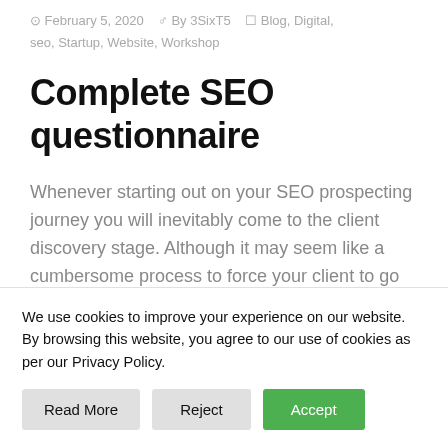February 5, 2020  By 3SixT5  Blog, Digital, seo, Startup, Website, Workshop
Complete SEO questionnaire
Whenever starting out on your SEO prospecting journey you will inevitably come to the client discovery stage. Although it may seem like a cumbersome process to force your client to go through, in the long run it will become your best friend
We use cookies to improve your experience on our website. By browsing this website, you agree to our use of cookies as per our Privacy Policy.